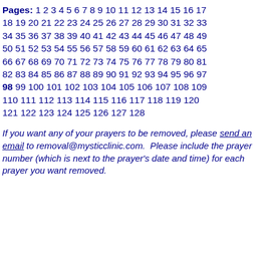Pages: 1 2 3 4 5 6 7 8 9 10 11 12 13 14 15 16 17 18 19 20 21 22 23 24 25 26 27 28 29 30 31 32 33 34 35 36 37 38 39 40 41 42 43 44 45 46 47 48 49 50 51 52 53 54 55 56 57 58 59 60 61 62 63 64 65 66 67 68 69 70 71 72 73 74 75 76 77 78 79 80 81 82 83 84 85 86 87 88 89 90 91 92 93 94 95 96 97 98 99 100 101 102 103 104 105 106 107 108 109 110 111 112 113 114 115 116 117 118 119 120 121 122 123 124 125 126 127 128
If you want any of your prayers to be removed, please send an email to removal@mysticclinic.com. Please include the prayer number (which is next to the prayer's date and time) for each prayer you want removed.